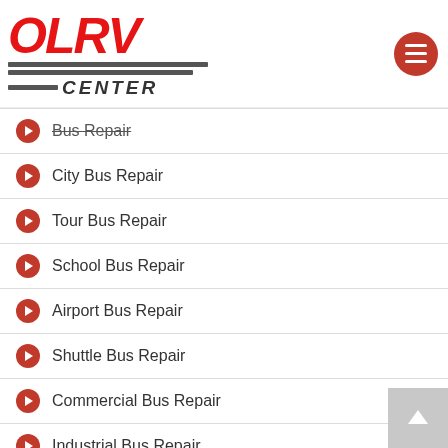OLRV CENTER
Bus Repair
City Bus Repair
Tour Bus Repair
School Bus Repair
Airport Bus Repair
Shuttle Bus Repair
Commercial Bus Repair
Industrial Bus Repair
Delivery Bus Repair
Ambulance Repair